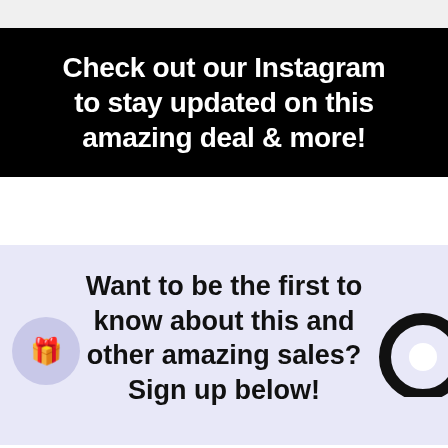Check out our Instagram to stay updated on this amazing deal & more!
Want to be the first to know about this and other amazing sales? Sign up below!